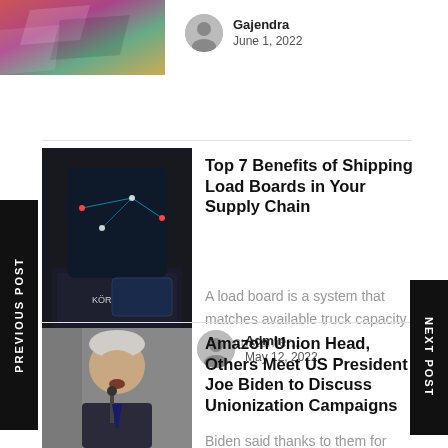[Figure (photo): Colorful stacked shapes/logo image cropped at top]
Gajendra
June 1, 2022
[Figure (photo): Person holding phone showing a global logistics map app, laptop with Körber logo visible]
Top 7 Benefits of Shipping Load Boards in Your Supply Chain
A load board is a system that matches available truck capacity with customer...
Admin
May 12, 2022
[Figure (photo): Joe Biden speaking at a podium microphone]
Amazon Union Head, Others Meet US President Joe Biden to Discuss Unionization Campaigns
Biden said thanks to them for supporting getting sorted out
PREVIOUS POST
NEXT POST